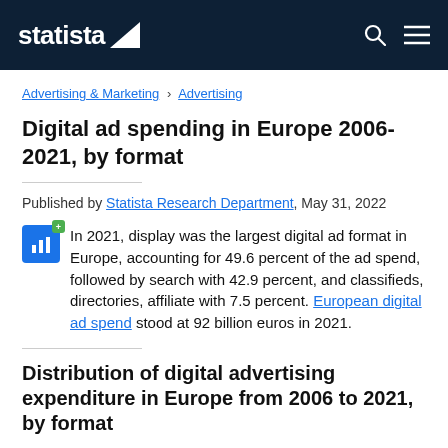statista
Advertising & Marketing › Advertising
Digital ad spending in Europe 2006-2021, by format
Published by Statista Research Department, May 31, 2022
In 2021, display was the largest digital ad format in Europe, accounting for 49.6 percent of the ad spend, followed by search with 42.9 percent, and classifieds, directories, affiliate with 7.5 percent. European digital ad spend stood at 92 billion euros in 2021.
Distribution of digital advertising expenditure in Europe from 2006 to 2021, by format